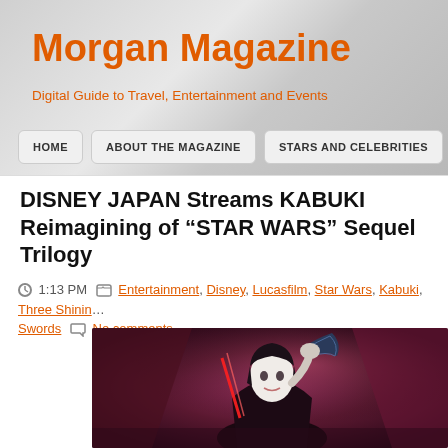Morgan Magazine
Digital Guide to Travel, Entertainment and Events
HOME
ABOUT THE MAGAZINE
STARS AND CELEBRITIES
DISNEY JAPAN Streams KABUKI Reimagining of “STAR WARS” Sequel Trilogy
1:13 PM  Entertainment, Disney, Lucasfilm, Star Wars, Kabuki, Three Shining Swords  No comments
[Figure (photo): Kabuki performer in traditional costume with white face paint and dark hair, holding a decorative fan above head, with red lightsabers visible, against a dark purple/red dramatic stage background]